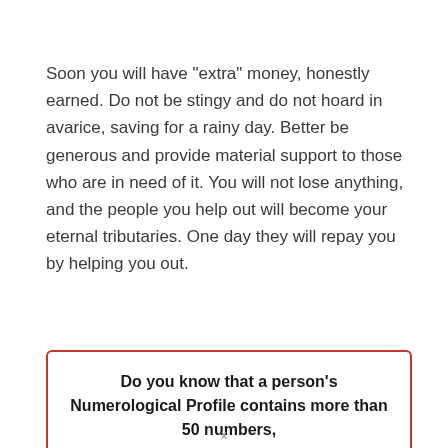Soon you will have "extra" money, honestly earned. Do not be stingy and do not hoard in avarice, saving for a rainy day. Better be generous and provide material support to those who are in need of it. You will not lose anything, and the people you help out will become your eternal tributaries. One day they will repay you by helping you out.
Do you know that a person's Numerological Profile contains more than 50 numbers,